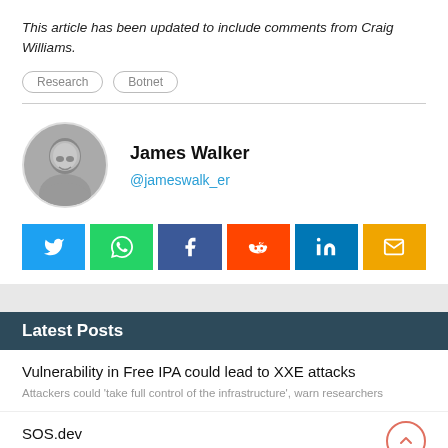This article has been updated to include comments from Craig Williams.
Research
Botnet
James Walker
@jameswalk_er
[Figure (illustration): Social share buttons: Twitter (blue), WhatsApp (green), Facebook (dark blue), Reddit (orange), LinkedIn (blue), Email (yellow)]
Latest Posts
Vulnerability in Free IPA could lead to XXE attacks
Attackers could 'take full control of the infrastructure', warn researchers
SOS.dev
Security reward program launched to help protect critical upstream